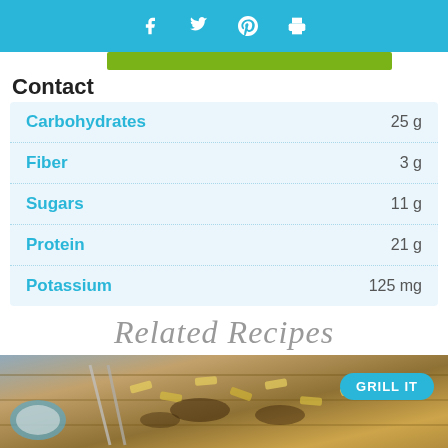Social share bar: Facebook, Twitter, Pinterest, Print
| Nutrient | Amount |
| --- | --- |
| Carbohydrates | 25 g |
| Fiber | 3 g |
| Sugars | 11 g |
| Protein | 21 g |
| Potassium | 125 mg |
Contact
Related Recipes
[Figure (photo): Photo of grilled pasta dish on a wooden surface with a blue badge reading 'GRILL IT']